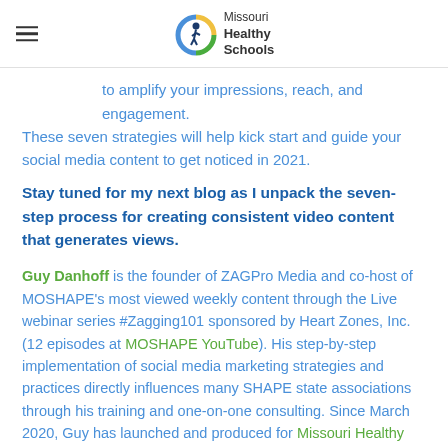Missouri Healthy Schools
to amplify your impressions, reach, and engagement. These seven strategies will help kick start and guide your social media content to get noticed in 2021.
Stay tuned for my next blog as I unpack the seven-step process for creating consistent video content that generates views.
Guy Danhoff is the founder of ZAGPro Media and co-host of MOSHAPE's most viewed weekly content through the Live webinar series #Zagging101 sponsored by Heart Zones, Inc. (12 episodes at MOSHAPE YouTube). His step-by-step implementation of social media marketing strategies and practices directly influences many SHAPE state associations through his training and one-on-one consulting. Since March 2020, Guy has launched and produced for Missouri Healthy Schools (MHS) live weekly streaming content during the